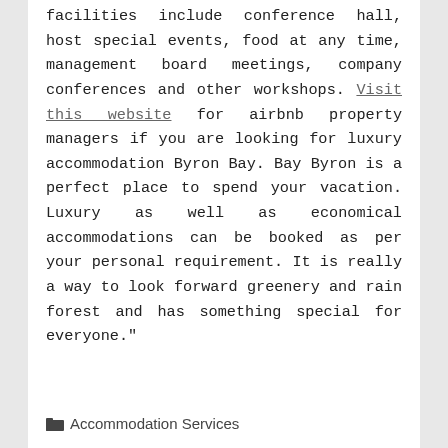facilities include conference hall, host special events, food at any time, management board meetings, company conferences and other workshops. Visit this website for airbnb property managers if you are looking for luxury accommodation Byron Bay. Bay Byron is a perfect place to spend your vacation. Luxury as well as economical accommodations can be booked as per your personal requirement. It is really a way to look forward greenery and rain forest and has something special for everyone."
Accommodation Services